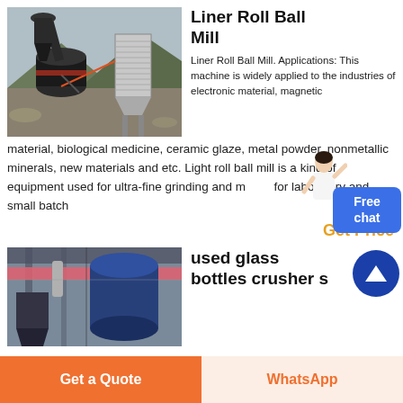[Figure (photo): Outdoor industrial ball mill equipment with cyclone separator and dust collector, mountains in background]
Liner Roll Ball Mill
Liner Roll Ball Mill. Applications: This machine is widely applied to the industries of electronic material, magnetic material, biological medicine, ceramic glaze, metal powder, nonmetallic minerals, new materials and etc. Light roll ball mill is a kind of equipment used for ultra-fine grinding and mixing for laboratory and small batch
Get Price
[Figure (photo): Indoor industrial glass bottles crusher equipment with conveyor and large container]
used glass bottles crusher s